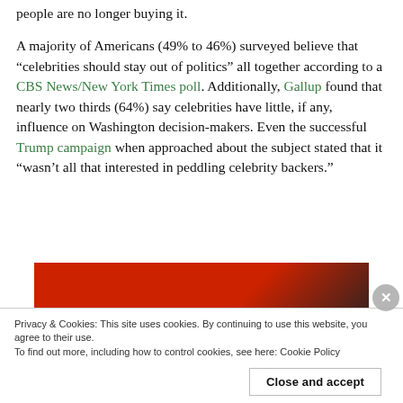people are no longer buying it.
A majority of Americans (49% to 46%) surveyed believe that “celebrities should stay out of politics” all together according to a CBS News/New York Times poll. Additionally, Gallup found that nearly two thirds (64%) say celebrities have little, if any, influence on Washington decision-makers. Even the successful Trump campaign when approached about the subject stated that it “wasn’t all that interested in peddling celebrity backers.”
[Figure (photo): Partial photo showing a red device, likely a smartphone, against a dark background.]
Privacy & Cookies: This site uses cookies. By continuing to use this website, you agree to their use. To find out more, including how to control cookies, see here: Cookie Policy
Close and accept